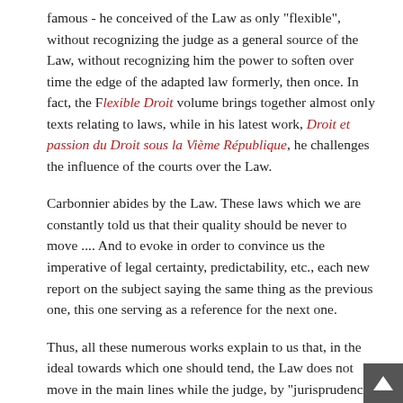famous - he conceived of the Law as only "flexible", without recognizing the judge as a general source of the Law, without recognizing him the power to soften over time the edge of the adapted law formerly, then once. In fact, the Flexible Droit volume brings together almost only texts relating to laws, while in his latest work, Droit et passion du Droit sous la Vième République, he challenges the influence of the courts over the Law.
Carbonnier abides by the Law. These laws which we are constantly told us that their quality should be never to move .... And to evoke in order to convince us the imperative of legal certainty, predictability, etc., each new report on the subject saying the same thing as the previous one, this one serving as a reference for the next one.
Thus, all these numerous works explain to us that, in the ideal towards which one should tend, the Law does not move in the main lines while the judge, by "jurisprudence" comes to adapt it and that thanks to "dialogue", even to